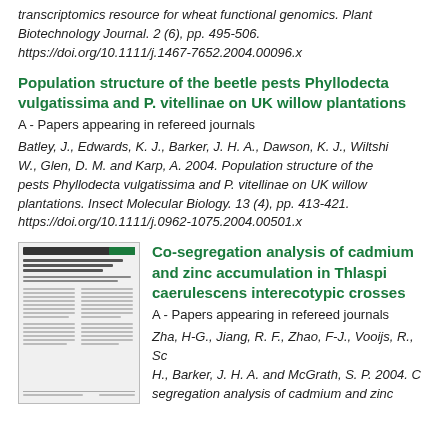transcriptomics resource for wheat functional genomics. Plant Biotechnology Journal. 2 (6), pp. 495-506. https://doi.org/10.1111/j.1467-7652.2004.00096.x
Population structure of the beetle pests Phyllodecta vulgatissima and P. vitellinae on UK willow plantations
A - Papers appearing in refereed journals
Batley, J., Edwards, K. J., Barker, J. H. A., Dawson, K. J., Wiltshire, W., Glen, D. M. and Karp, A. 2004. Population structure of the pests Phyllodecta vulgatissima and P. vitellinae on UK willow plantations. Insect Molecular Biology. 13 (4), pp. 413-421. https://doi.org/10.1111/j.0962-1075.2004.00501.x
[Figure (other): Thumbnail image of a journal article page]
Co-segregation analysis of cadmium and zinc accumulation in Thlaspi caerulescens interecotypic crosses
A - Papers appearing in refereed journals
Zha, H-G., Jiang, R. F., Zhao, F-J., Vooijs, R., Schat, H., Barker, J. H. A. and McGrath, S. P. 2004. Co-segregation analysis of cadmium and zinc